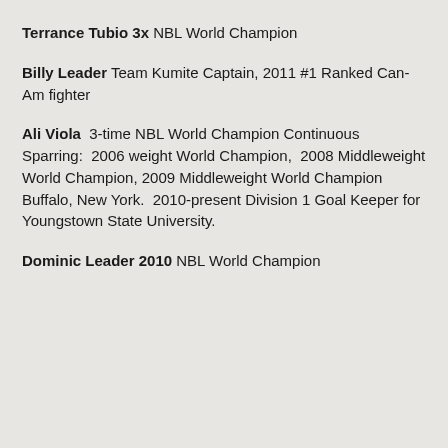Terrance Tubio 3x NBL World Champion
Billy Leader Team Kumite Captain, 2011 #1 Ranked Can-Am fighter
Ali Viola  3-time NBL World Champion Continuous Sparring:  2006 weight World Champion,  2008 Middleweight World Champion, 2009 Middleweight World Champion Buffalo, New York.  2010-present Division 1 Goal Keeper for Youngstown State University.
Dominic Leader 2010 NBL World Champion